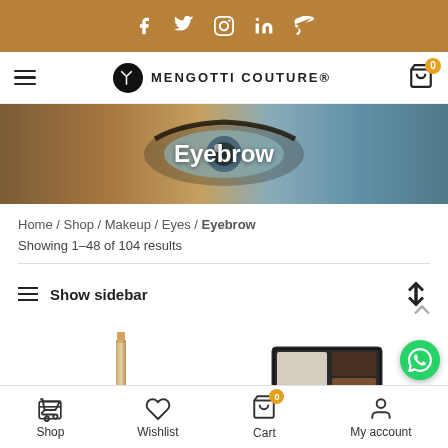Social bar: Facebook, Twitter, Pinterest, LinkedIn, Telegram
[Figure (screenshot): Mengotti Couture navigation bar with hamburger menu, brand logo and name, and shopping cart icon with badge 0]
[Figure (photo): Close-up of a human eye with eyebrow, hero banner with title 'Eyebrow']
Home / Shop / Makeup / Eyes / Eyebrow
Showing 1–48 of 104 results
Show sidebar
[Figure (photo): Eyebrow pencil product image]
[Figure (photo): Eyebrow palette/compact product image]
Shop | Wishlist | Cart (0) | My account